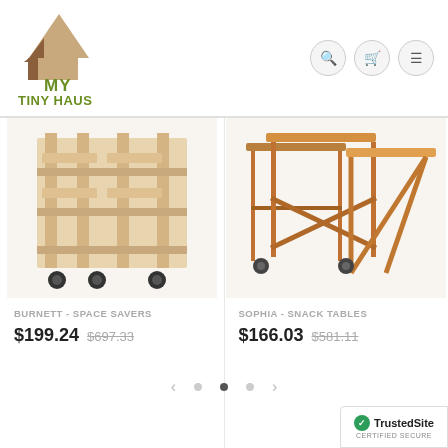[Figure (logo): My Tiny Haus logo with house icon and green/brown text]
[Figure (photo): Burnett space saver furniture - light wood bar stools on wheels]
BURNETT - SPACE SAVERS
$199.24  $697.33
[Figure (photo): Sophia snack tables set - medium wood folding tray tables]
SOPHIA - SNACK TABLES
$166.03  $581.11
[Figure (logo): TrustedSite Certified Secure badge]